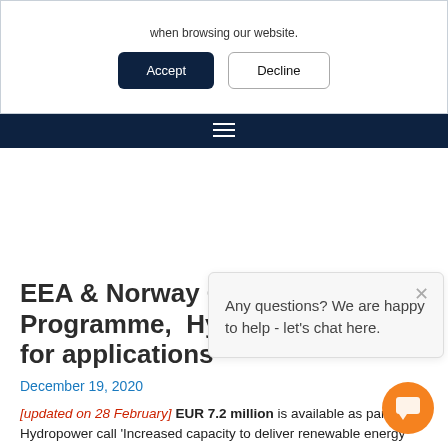when browsing our website.
Accept | Decline
Navigation menu
EEA & Norway Grants Programme, Hydropower call for applications
December 19, 2020
[updated on 28 February] EUR 7.2 million is available as part of the Hydropower call 'Increased capacity to deliver renewable energy'
Any questions? We are happy to help - let's chat here.